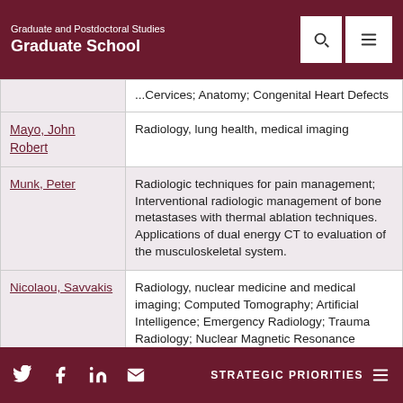Graduate and Postdoctoral Studies Graduate School
| Name | Research Interests |
| --- | --- |
| [partial] | ...Cervices; Anatomy; Congenital Heart Defects |
| Mayo, John Robert | Radiology, lung health, medical imaging |
| Munk, Peter | Radiologic techniques for pain management; Interventional radiologic management of bone metastases with thermal ablation techniques. Applications of dual energy CT to evaluation of the musculoskeletal system. |
| Nicolaou, Savvakis | Radiology, nuclear medicine and medical imaging; Computed Tomography; Artificial Intelligence; Emergency Radiology; Trauma Radiology; Nuclear Magnetic Resonance |
| [partial] |  |
STRATEGIC PRIORITIES